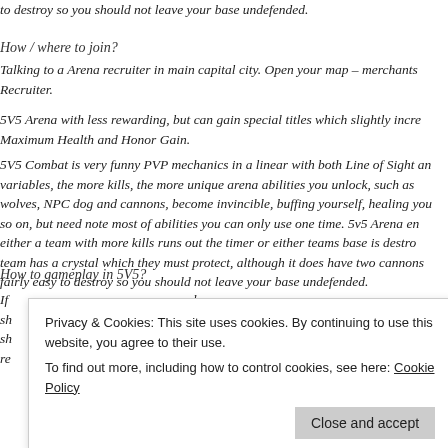to destroy so you should not leave your base undefended.
How / where to join?
Talking to a Arena recruiter in main capital city. Open your map – merchants Recruiter.
5V5 Arena with less rewarding, but can gain special titles which slightly increase Maximum Health and Honor Gain.
5V5 Combat is very funny PVP mechanics in a linear with both Line of Sight and variables, the more kills, the more unique arena abilities you unlock, such as wolves, NPC dog and cannons, become invincible, buffing yourself, healing you and so on, but need note most of abilities you can only use one time. 5v5 Arena ends either a team with more kills runs out the timer or either teams base is destroyed, team has a crystal which they must protect, although it does have two cannons fairly easy to destroy so you should not leave your base undefended.
How to gameplay in 5V5?
If ... ele sh ... e sh ... ul re ... it.
Privacy & Cookies: This site uses cookies. By continuing to use this website, you agree to their use.
To find out more, including how to control cookies, see here: Cookie Policy
Close and accept